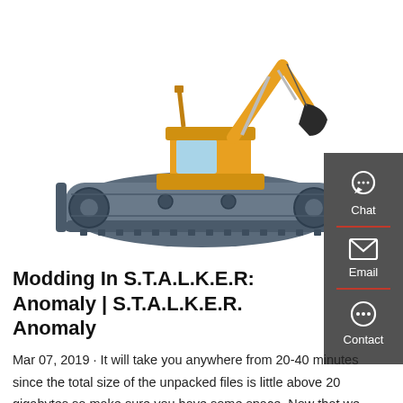[Figure (photo): A yellow excavator/crane machine mounted on a large amphibious tank-like tracked undercarriage, shown against a white background.]
Modding In S.T.A.L.K.E.R: Anomaly | S.T.A.L.K.E.R. Anomaly
Mar 07, 2019 · It will take you anywhere from 20-40 minutes since the total size of the unpacked files is little above 20 gigabytes so make sure you have some space. Now that we